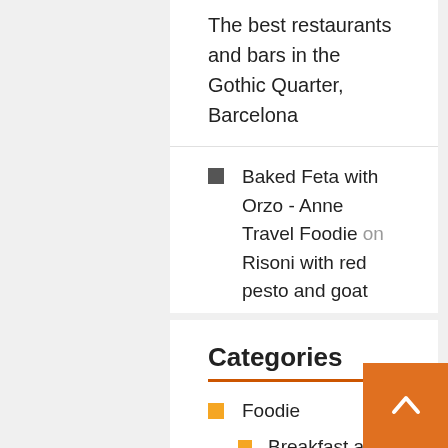Baked Feta with Orzo - Anne Travel Foodie on Risoni with red pesto and goat cheese
The best restaurants in Sant Antoni, Barcelona - Anne Travel Foodie on Vegetarian food guide for Barcelona
Categories
Foodie
Breakfast and lunch